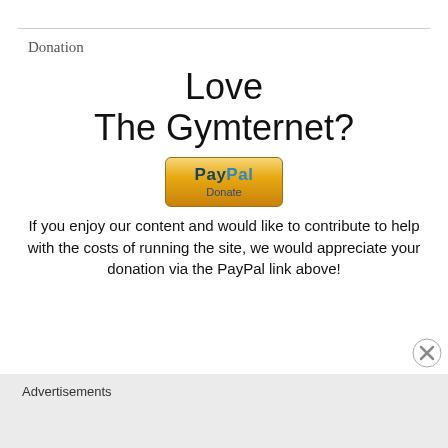Donation
Love The Gymternet?
[Figure (logo): PayPal Donate button with gold gradient background]
If you enjoy our content and would like to contribute to help with the costs of running the site, we would appreciate your donation via the PayPal link above!
Advertisements